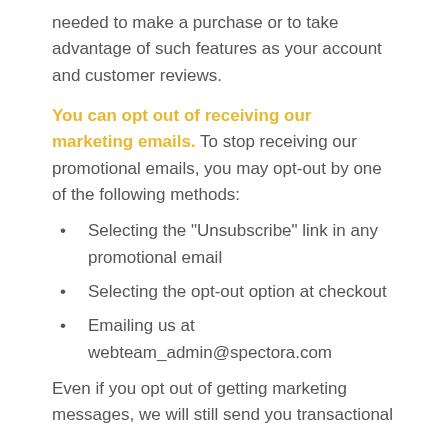needed to make a purchase or to take advantage of such features as your account and customer reviews.
You can opt out of receiving our marketing emails. To stop receiving our promotional emails, you may opt-out by one of the following methods:
Selecting the "Unsubscribe" link in any promotional email
Selecting the opt-out option at checkout
Emailing us at webteam_admin@spectora.com
Even if you opt out of getting marketing messages, we will still send you transactional